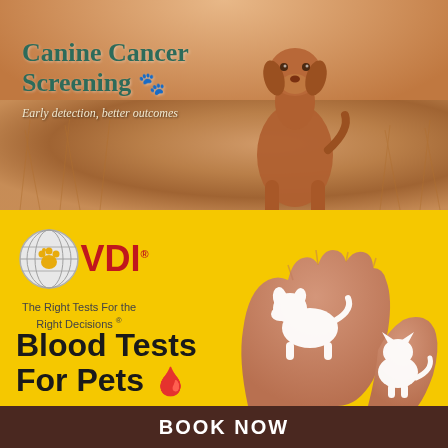[Figure (photo): A brown Vizsla dog sitting in a golden wheat/grass field, warm bokeh background. Text overlay reads 'Canine Cancer Screening' with paw print emoji and 'Early detection, better outcomes' in italic.]
Canine Cancer Screening 🐾
Early detection, better outcomes
[Figure (logo): VDI logo: globe with paw print, red VDI text with registered trademark. Yellow background section. Tagline: 'The Right Tests For the Right Decisions ®'. Large bold text: 'Blood Tests For Pets' with drop icon. Right side shows two hands cupped holding white silhouettes of a dog and cat.]
The Right Tests For the Right Decisions ®
Blood Tests For Pets
BOOK NOW